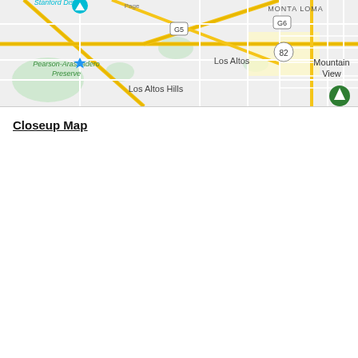[Figure (map): Google Maps screenshot showing the area around Pearson-Arastradero Preserve, Los Altos Hills, Los Altos, Mountain View, and Monta Loma. Shows highway 82, route markers G5 and G6, and a Stanford Dish marker in the upper left.]
Closeup Map